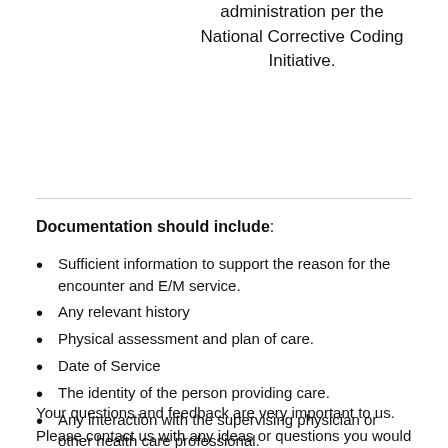administration per the National Corrective Coding Initiative.
Documentation should include:
Sufficient information to support the reason for the encounter and E/M service.
Any relevant history
Physical assessment and plan of care.
Date of Service
The identity of the person providing care.
Any interaction with the supervising physician or other health care professional.
Your questions and feedback are very important to us. Please contact us with any ideas or questions you would